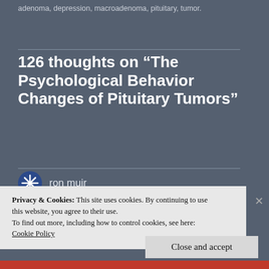adenoma, depression, macroadenoma, pituitary, tumor.
126 thoughts on “The Psychological Behavior Changes of Pituitary Tumors”
ron muir
Privacy & Cookies: This site uses cookies. By continuing to use this website, you agree to their use.
To find out more, including how to control cookies, see here:
Cookie Policy
Close and accept